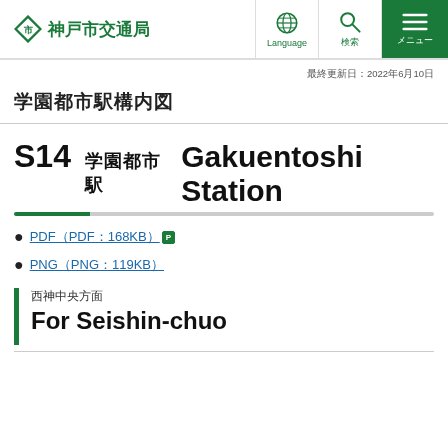神戸市交通局 | Language | 검색 | メニュー
最終更新日：2022年6月10日
学園都市駅構内図
S14　学園都市駅　Gakuentoshi Station
PDF（PDF：168KB）[P]
PNG（PNG：119KB）
西神中央方面 For Seishin-chuo